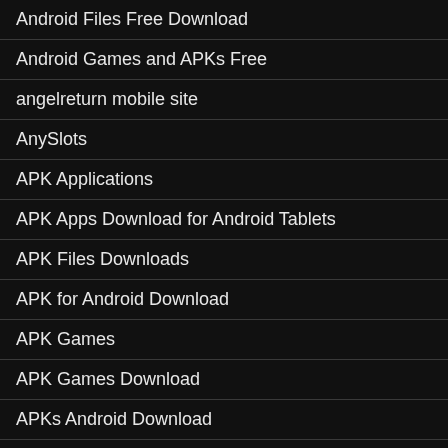Android Files Free Download
Android Games and APKs Free
angelreturn mobile site
AnySlots
APK Applications
APK Apps Download for Android Tablets
APK Files Downloads
APK for Android Download
APK Games
APK Games Download
APKs Android Download
App news
Applications For Android Devices